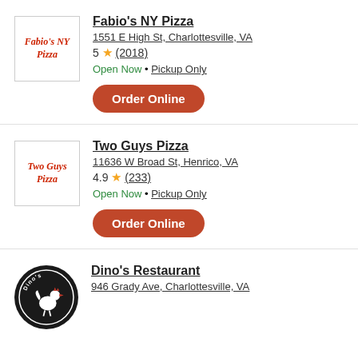[Figure (logo): Fabio's NY Pizza logo - red italic text on white background]
Fabio's NY Pizza
1551 E High St, Charlottesville, VA
5 ★ (2018)
Open Now • Pickup Only
Order Online
[Figure (logo): Two Guys Pizza logo - red italic text on white background]
Two Guys Pizza
11636 W Broad St, Henrico, VA
4.9 ★ (233)
Open Now • Pickup Only
Order Online
[Figure (logo): Dino's Restaurant circular black logo with rooster illustration]
Dino's Restaurant
946 Grady Ave, Charlottesville, VA